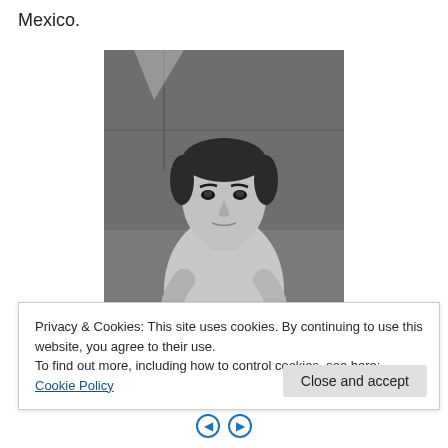Mexico.
[Figure (photo): Black and white vintage photograph of a young man sitting, leaning forward with arms crossed resting on what appears to be a chair back, shirtless, with dark hair, looking directly at camera. Background appears to be a wall or surface with some lines/marks.]
Privacy & Cookies: This site uses cookies. By continuing to use this website, you agree to their use.
To find out more, including how to control cookies, see here: Cookie Policy
Close and accept